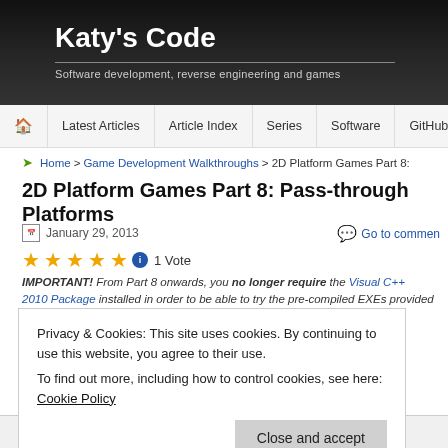Katy's Code — Software development, reverse engineering and games
Latest Articles | Article Index | Series | Software | GitHub
Home > Game Development Walkthroughs > 2D Platform Games Part 8:
2D Platform Games Part 8: Pass-through Platforms
January 29, 2013
Go to comments
1 Vote
IMPORTANT! From Part 8 onwards, you no longer require the Visual C++ 2010 Package installed in order to be able to try the pre-compiled EXEs provided with
Privacy & Cookies: This site uses cookies. By continuing to use this website, you agree to their use.
To find out more, including how to control cookies, see here: Cookie Policy
Close and accept